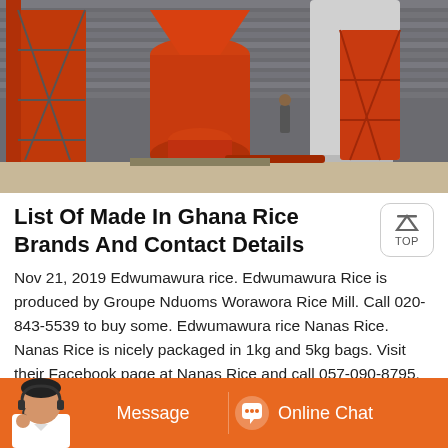[Figure (photo): Industrial orange/red rice milling machinery and equipment inside a large shed or factory, with grain silos and metal scaffolding structures visible.]
List Of Made In Ghana Rice Brands And Contact Details
Nov 21, 2019 Edwumawura rice. Edwumawura Rice is produced by Groupe Nduoms Worawora Rice Mill. Call 020-843-5539 to buy some. Edwumawura rice Nanas Rice. Nanas Rice is nicely packaged in 1kg and 5kg bags. Visit their Facebook page at Nanas Rice and call 057-090-8795. Nanas Rice Lom Nava Rice. Lom N... has a warehouse in Nyarxxx
[Figure (other): Orange chat bar at the bottom with a customer service avatar, a 'Message' button, and an 'Online Chat' button with chat icon.]